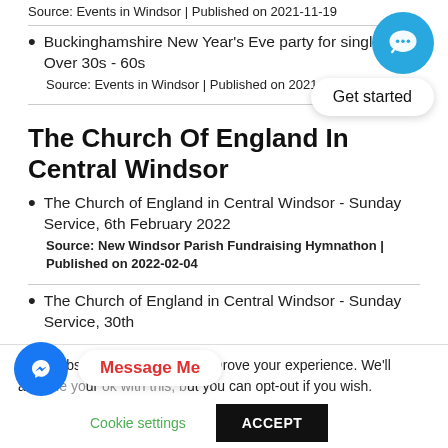Source: Events in Windsor | Published on 2021-11-19
Buckinghamshire New Year's Eve party for singles and Over 30s - 60s
Source: Events in Windsor | Published on 2021-02-10
[Figure (other): Blue circular chat bubble button in top right corner]
[Figure (other): Get started rounded button]
The Church Of England In Central Windsor
The Church of England in Central Windsor - Sunday Service, 6th February 2022
Source: New Windsor Parish Fundraising Hymnathon | Published on 2022-02-04
The Church of England in Central Windsor - Sunday Service, 30th
[Figure (other): Blue Facebook Messenger circular button bottom left]
Message Me
This website uses cookies to improve your experience. We'll assume you're ok with this, but you can opt-out if you wish.
Cookie settings
ACCEPT